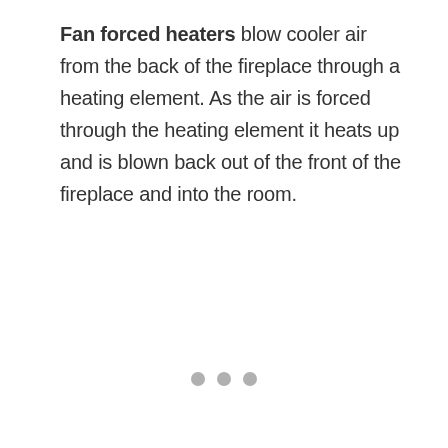Fan forced heaters blow cooler air from the back of the fireplace through a heating element. As the air is forced through the heating element it heats up and is blown back out of the front of the fireplace and into the room.
[Figure (other): Light gray rectangular placeholder image area with three gray dots below indicating a carousel or slideshow indicator]